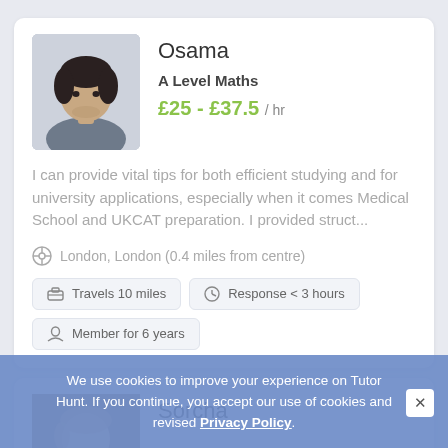[Figure (photo): Profile photo of Osama, a young man with dark hair wearing a grey cardigan]
Osama
A Level Maths
£25 - £37.5 / hr
I can provide vital tips for both efficient studying and for university applications, especially when it comes Medical School and UKCAT preparation. I provided struct...
London, London (0.4 miles from centre)
Travels 10 miles
Response < 3 hours
Member for 6 years
[Figure (photo): Partial profile photo of Sorcha]
Sorcha
We use cookies to improve your experience on Tutor Hunt. If you continue, you accept our use of cookies and revised Privacy Policy.